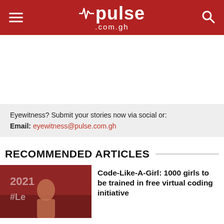pulse.com.gh
Eyewitness? Submit your stories now via social or:
Email: eyewitness@pulse.com.gh
RECOMMENDED ARTICLES
Code-Like-A-Girl: 1000 girls to be trained in free virtual coding initiative